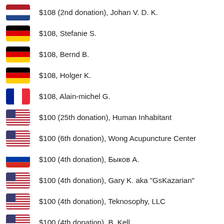$108 (2nd donation), Johan V. D. K.
$108, Stefanie S.
$108, Bernd B.
$108, Holger K.
$108, Alain-michel G.
$100 (25th donation), Human Inhabitant
$100 (6th donation), Wong Acupuncture Center
$100 (4th donation), Быков А.
$100 (4th donation), Gary K. aka "GsKazarian"
$100 (4th donation), Teknosophy, LLC
$100 (4th donation), B. Kell